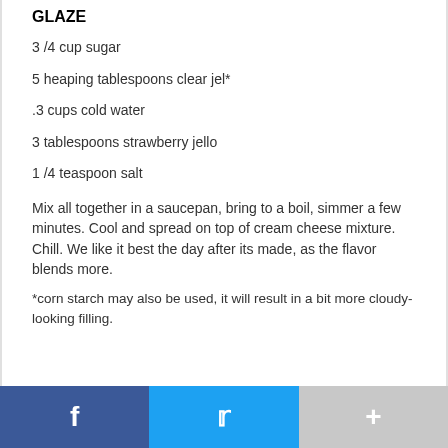GLAZE
3 /4 cup sugar
5 heaping tablespoons clear jel*
.3 cups cold water
3 tablespoons strawberry jello
1 /4 teaspoon salt
Mix all together in a saucepan, bring to a boil, simmer a few minutes. Cool and spread on top of cream cheese mixture. Chill. We like it best the day after its made, as the flavor blends more.
*corn starch may also be used, it will result in a bit more cloudy- looking filling.